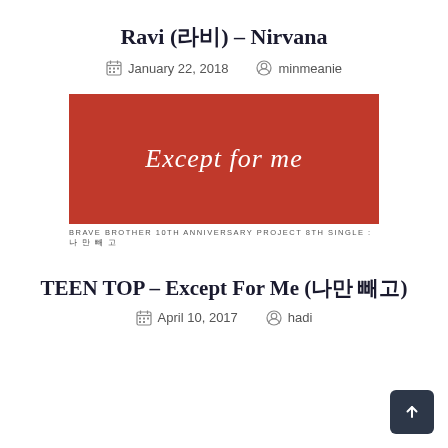Ravi (라비) – Nirvana
January 22, 2018   minmeanie
[Figure (illustration): Red album cover for 'Except for me' — Brave Brother 10th Anniversary Project 8th Single: 나만 빼고]
TEEN TOP – Except For Me (나만 빼고)
April 10, 2017   hadi